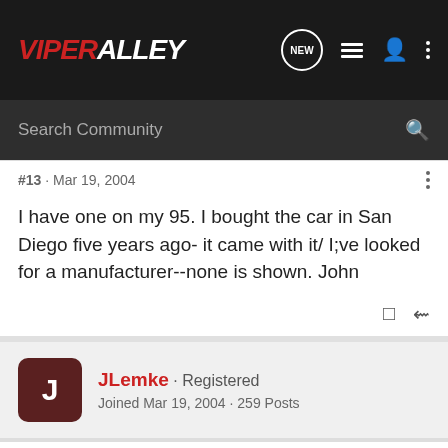[Figure (logo): ViperAlley forum logo with navigation icons on dark background]
Search Community
#13 · Mar 19, 2004
I have one on my 95. I bought the car in San Diego five years ago- it came with it/ I;ve looked for a manufacturer--none is shown. John
JLemke · Registered
Joined Mar 19, 2004 · 259 Posts
#14 · Mar 20, 2004